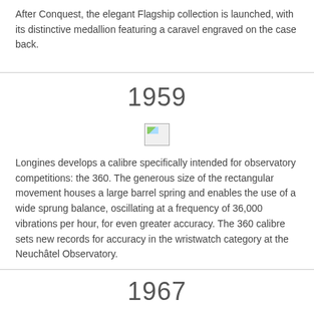After Conquest, the elegant Flagship collection is launched, with its distinctive medallion featuring a caravel engraved on the case back.
1959
[Figure (photo): Small broken/placeholder image icon]
Longines develops a calibre specifically intended for observatory competitions: the 360. The generous size of the rectangular movement houses a large barrel spring and enables the use of a wide sprung balance, oscillating at a frequency of 36,000 vibrations per hour, for even greater accuracy. The 360 calibre sets new records for accuracy in the wristwatch category at the Neuchâtel Observatory.
1967